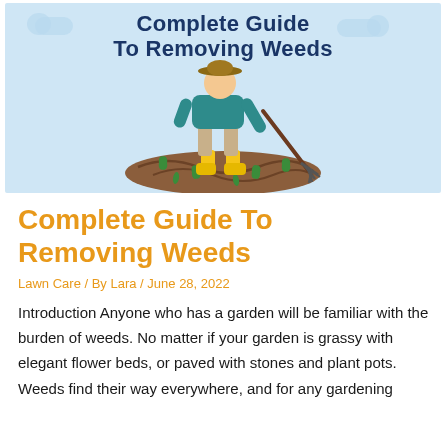[Figure (illustration): Illustrated banner with light blue background showing a person wearing a hat and yellow boots using a garden rake/hoe on a patch of brown soil with small green weeds sprouting. Text above reads 'Complete Guide To Removing Weeds' in dark navy bold font. Small blue clouds in background.]
Complete Guide To Removing Weeds
Lawn Care / By Lara / June 28, 2022
Introduction Anyone who has a garden will be familiar with the burden of weeds. No matter if your garden is grassy with elegant flower beds, or paved with stones and plant pots. Weeds find their way everywhere, and for any gardening